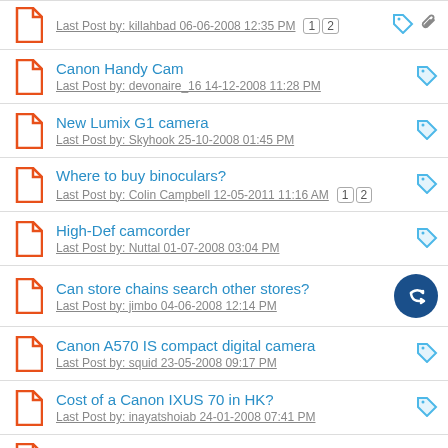Last Post by: killahbad 06-06-2008 12:35 PM  [1] [2]
Canon Handy Cam
Last Post by: devonaire_16 14-12-2008 11:28 PM
New Lumix G1 camera
Last Post by: Skyhook 25-10-2008 01:45 PM
Where to buy binoculars?
Last Post by: Colin Campbell 12-05-2011 11:16 AM  [1] [2]
High-Def camcorder
Last Post by: Nuttal 01-07-2008 03:04 PM
Can store chains search other stores?
Last Post by: jimbo 04-06-2008 12:14 PM
Canon A570 IS compact digital camera
Last Post by: squid 23-05-2008 09:17 PM
Cost of a Canon IXUS 70 in HK?
Last Post by: inayatshoiab 24-01-2008 07:41 PM
Canon SLR Club in HK?